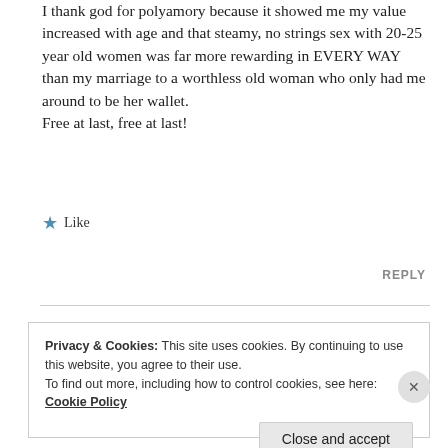I thank god for polyamory because it showed me my value increased with age and that steamy, no strings sex with 20-25 year old women was far more rewarding in EVERY WAY than my marriage to a worthless old woman who only had me around to be her wallet.
Free at last, free at last!
★ Like
REPLY
Privacy & Cookies: This site uses cookies. By continuing to use this website, you agree to their use.
To find out more, including how to control cookies, see here: Cookie Policy